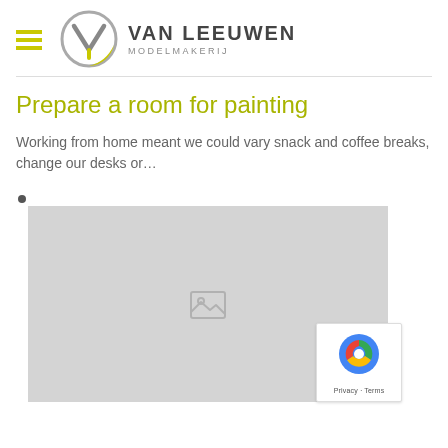Van Leeuwen Modelmakerij
Prepare a room for painting
Working from home meant we could vary snack and coffee breaks, change our desks or…
[Figure (photo): A large grey placeholder image with a broken image icon in the center, with a reCAPTCHA badge overlay in the bottom-right corner showing 'Privacy - Terms']